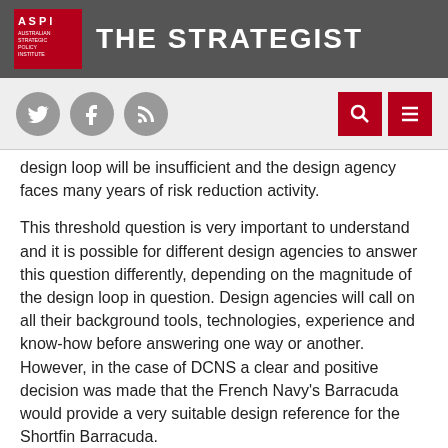THE STRATEGIST
[Figure (logo): ASPI Australian Strategic Policy Institute logo with social media icons (Twitter, Facebook, RSS) and search/menu buttons]
design loop will be insufficient and the design agency faces many years of risk reduction activity.
This threshold question is very important to understand and it is possible for different design agencies to answer this question differently, depending on the magnitude of the design loop in question. Design agencies will call on all their background tools, technologies, experience and know-how before answering one way or another. However, in the case of DCNS a clear and positive decision was made that the French Navy's Barracuda would provide a very suitable design reference for the Shortfin Barracuda.
The data that enabled the selection of the Barracuda as the Australian design reference included such things hull diameter,